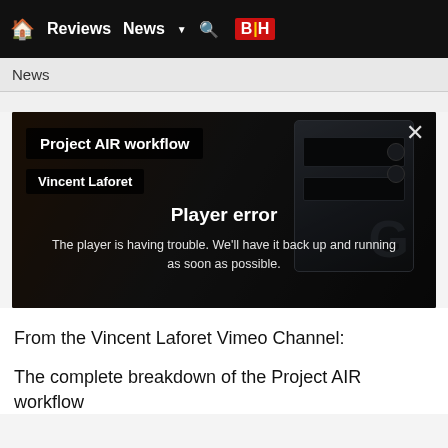Home Reviews News ▼ 🔍 B|H
News
[Figure (screenshot): Video player showing 'Project AIR workflow' by Vincent Laforet, displaying a Player error message: 'The player is having trouble. We'll have it back up and running as soon as possible.' Background shows photography/video equipment. Close (X) button in top right.]
From the Vincent Laforet Vimeo Channel:
The complete breakdown of the Project AIR workflow